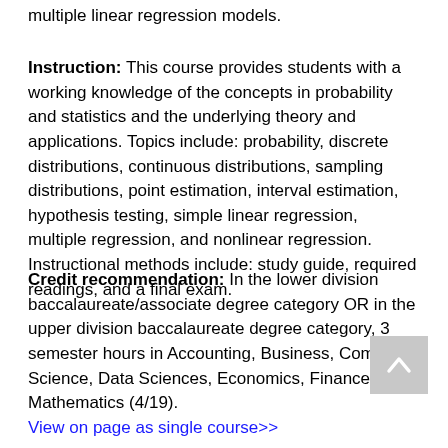multiple linear regression models.
Instruction: This course provides students with a working knowledge of the concepts in probability and statistics and the underlying theory and applications. Topics include: probability, discrete distributions, continuous distributions, sampling distributions, point estimation, interval estimation, hypothesis testing, simple linear regression, multiple regression, and nonlinear regression. Instructional methods include: study guide, required readings, and a final exam.
Credit recommendation: In the lower division baccalaureate/associate degree category OR in the upper division baccalaureate degree category, 3 semester hours in Accounting, Business, Computer Science, Data Sciences, Economics, Finance, or Mathematics (4/19).
View on page as single course>>